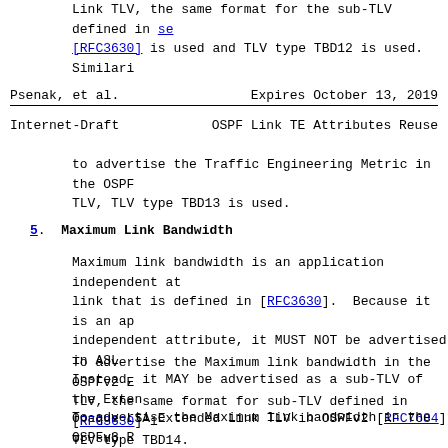Link TLV, the same format for the sub-TLV defined in se[RFC3630] is used and TLV type TBD12 is used. Similari
Psenak, et al.                    Expires October 13, 2019
Internet-Draft          OSPF Link TE Attributes Reuse
to advertise the Traffic Engineering Metric in the OSPF TLV, TLV type TBD13 is used.
5.  Maximum Link Bandwidth
Maximum link bandwidth is an application independent at link that is defined in [RFC3630].  Because it is an ap independent attribute, it MUST NOT be advertised in ASL Instead, it MAY be advertised as a sub-TLV of the Exten Opaque LSA Extended Link TLV in OSPFv2 [RFC7684] or sub E-Router-LSA Router-Link TLV in OSPFv3 [RFC8362].
To advertise the Maximum link bandwidth in the OSPFv2 E TLV, the same format for sub-TLV defined in [RFC3630] i TLV type TBD14.
To advertise the Maximum link bandwidth in the OSPFv3 R TLV, the same format for sub-TLV defined in [RFC3630] i TLV type TBD15.